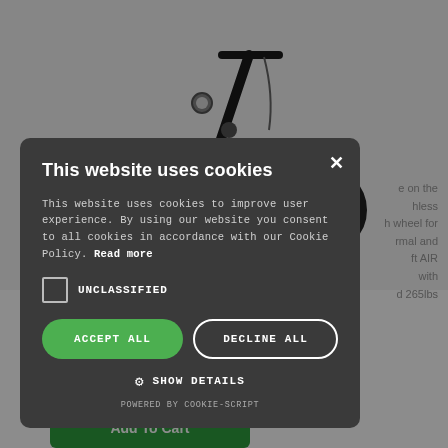[Figure (photo): Electric scooter product photo on white background]
e on the hless h wheel for rmal and ft AIR with d 265lbs
Add To Cart
This website uses cookies
This website uses cookies to improve user experience. By using our website you consent to all cookies in accordance with our Cookie Policy. Read more
UNCLASSIFIED
ACCEPT ALL
DECLINE ALL
SHOW DETAILS
POWERED BY COOKIE-SCRIPT